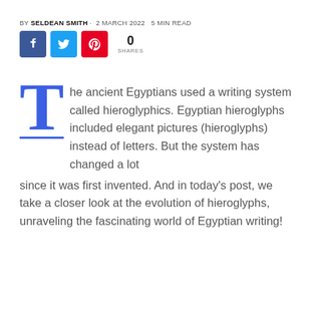BY SELDEAN SMITH · 2 MARCH 2022  5 MIN READ
[Figure (infographic): Social share buttons: Facebook (blue), Twitter (blue), Pinterest (red), with 0 SHARES count]
The ancient Egyptians used a writing system called hieroglyphics. Egyptian hieroglyphs included elegant pictures (hieroglyphs) instead of letters. But the system has changed a lot since it was first invented. And in today's post, we take a closer look at the evolution of hieroglyphs, unraveling the fascinating world of Egyptian writing!